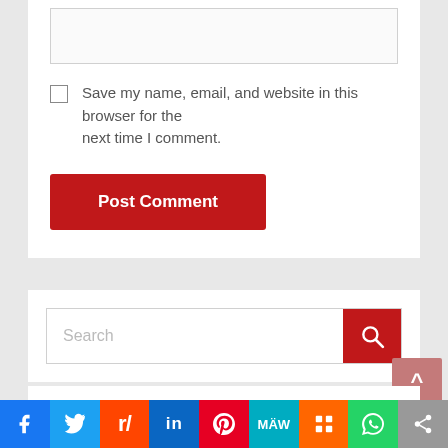[Figure (screenshot): Text input box (comment field) with light gray border]
Save my name, email, and website in this browser for the next time I comment.
[Figure (screenshot): Red Post Comment button]
[Figure (screenshot): Search bar with red search button icon]
Recent Posts
[Figure (screenshot): Social sharing bar with Facebook, Twitter, Reddit, LinkedIn, Pinterest, MeWe, Mix, WhatsApp, Share buttons]